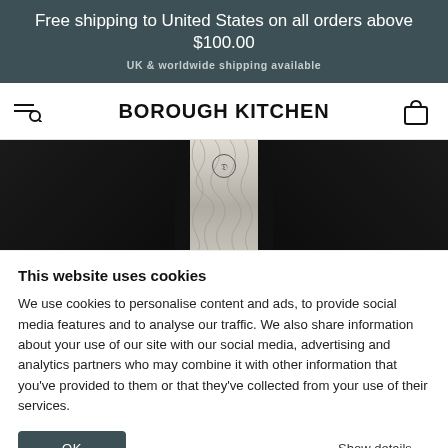Free shipping to United States on all orders above $100.00
UK & worldwide shipping available
BOROUGH KITCHEN
[Figure (photo): Close-up of a knife with patterned Damascus steel blade on a dark background, with the center strip showing the blade's wood grain-like texture and a small logo emblem.]
This website uses cookies
We use cookies to personalise content and ads, to provide social media features and to analyse our traffic. We also share information about your use of our site with our social media, advertising and analytics partners who may combine it with other information that you've provided to them or that they've collected from your use of their services.
OK
Show details